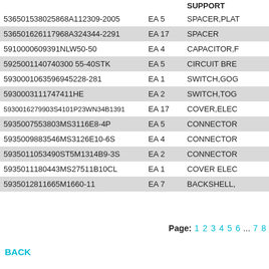| Part Number | UOM Qty | Description |
| --- | --- | --- |
| 536501538025868A112309-2005 | EA 5 | SPACER,PLAT |
| 536501626117968A324344-2291 | EA 17 | SPACER |
| 5910000609391NLW50-50 | EA 4 | CAPACITOR,F |
| 5925001140740300 55-40STK | EA 5 | CIRCUIT BRE |
| 5930001063596945228-281 | EA 1 | SWITCH,GOG |
| 5930003111747411HE | EA 2 | SWITCH,TOG |
| 5930016279903S4101P23WN34B1391 | EA 17 | COVER,ELEC |
| 5935007553803MS3116E8-4P | EA 5 | CONNECTOR |
| 5935009883546MS3126E10-6S | EA 4 | CONNECTOR |
| 5935011053490ST5M1314B9-3S | EA 2 | CONNECTOR |
| 5935011180443MS27511B10CL | EA 1 | COVER ELEC |
| 5935012811665M1660-11 | EA 7 | BACKSHELL, |
Page: 1 2 3 4 5 6 ... 7 8
BACK